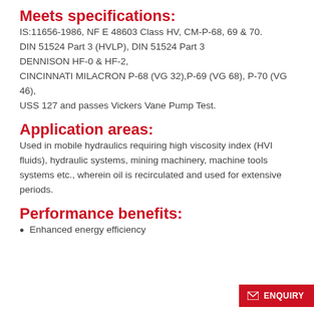Meets specifications:
IS:11656-1986, NF E 48603 Class HV, CM-P-68, 69 & 70. DIN 51524 Part 3 (HVLP), DIN 51524 Part 3 DENNISON HF-0 & HF-2, CINCINNATI MILACRON P-68 (VG 32),P-69 (VG 68), P-70 (VG 46), USS 127 and passes Vickers Vane Pump Test.
Application areas:
Used in mobile hydraulics requiring high viscosity index (HVI fluids), hydraulic systems, mining machinery, machine tools systems etc., wherein oil is recirculated and used for extensive periods.
Performance benefits:
Enhanced energy efficiency